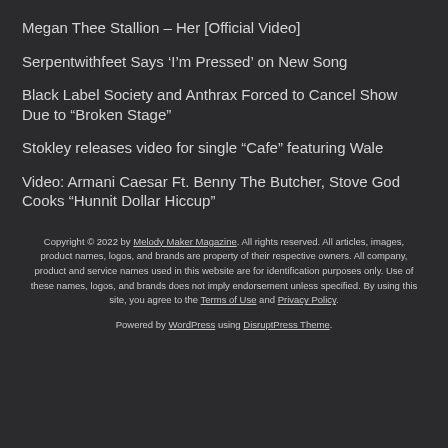Megan Thee Stallion – Her [Official Video]
Serpentwithfeet Says ‘I’m Pressed’ on New Song
Black Label Society and Anthrax Forced to Cancel Show Due to “Broken Stage”
Stokley releases video for single “Cafe” featuring Wale
Video: Armani Caesar Ft. Benny The Butcher, Stove God Cooks “Hunnit Dollar Hiccup”
Copyright © 2022 by Melody Maker Magazine. All rights reserved. All articles, images, product names, logos, and brands are property of their respective owners. All company, product and service names used in this website are for identification purposes only. Use of these names, logos, and brands does not imply endorsement unless specified. By using this site, you agree to the Terms of Use and Privacy Policy.
Powered by WordPress using DisruptPress Theme.